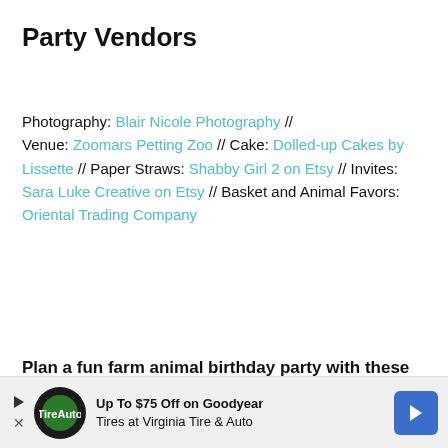Party Vendors
Photography: Blair Nicole Photography // Venue: Zoomars Petting Zoo // Cake: Dolled-up Cakes by Lissette // Paper Straws: Shabby Girl 2 on Etsy // Invites: Sara Luke Creative on Etsy // Basket and Animal Favors: Oriental Trading Company
Plan a fun farm animal birthday party with these products:
[Figure (other): Advertisement banner: Up To $75 Off on Goodyear Tires at Virginia Tire & Auto]